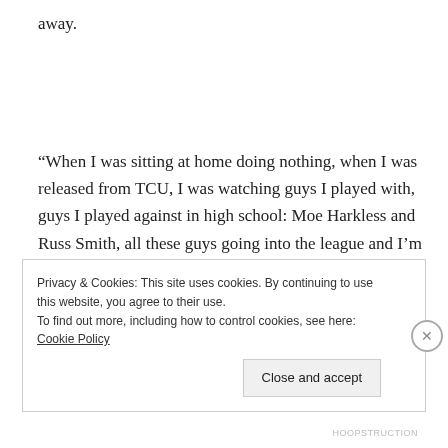away.
“When I was sitting at home doing nothing, when I was released from TCU, I was watching guys I played with, guys I played against in high school: Moe Harkless and Russ Smith, all these guys going into the league and I’m just sitting at home,” Rhoomes said. “It’s kind of stressful. I actually cried a few times.”
Privacy & Cookies: This site uses cookies. By continuing to use this website, you agree to their use.
To find out more, including how to control cookies, see here: Cookie Policy
Close and accept
HOOPSTRUCTION